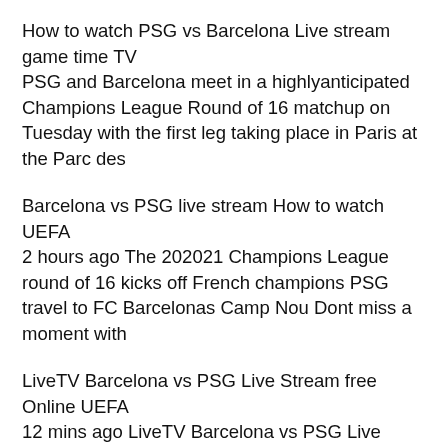How to watch PSG vs Barcelona Live stream game time TV
PSG and Barcelona meet in a highlyanticipated Champions League Round of 16 matchup on Tuesday with the first leg taking place in Paris at the Parc des
Barcelona vs PSG live stream How to watch UEFA
2 hours ago The 202021 Champions League round of 16 kicks off French champions PSG travel to FC Barcelonas Camp Nou Dont miss a moment with
LiveTV Barcelona vs PSG Live Stream free Online UEFA
12 mins ago LiveTV Barcelona vs PSG Live Stream free Online UEFA Champions League Soccer 2021 in Arts heritage with USAxzccxv Apply Today
Barcelona vs PSG live stream predictions team news
2 days ago Barcelona vs PSG Check here for info on how you can watch the game on TV and via online live